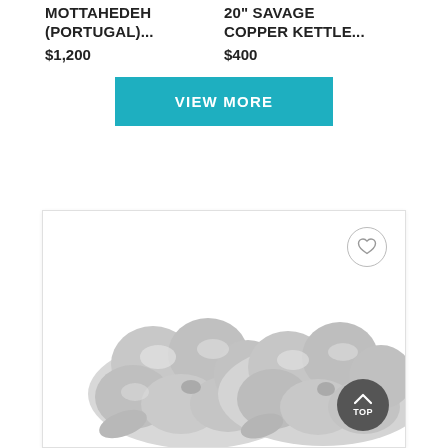MOTTAHEDEH (PORTUGAL)...
$1,200
20" SAVAGE COPPER KETTLE...
$400
VIEW MORE
[Figure (photo): Two silver flower-shaped serving dishes/trays with multiple compartments, photographed side by side on white background. A dark circular 'TOP' scroll button appears in the lower right corner.]